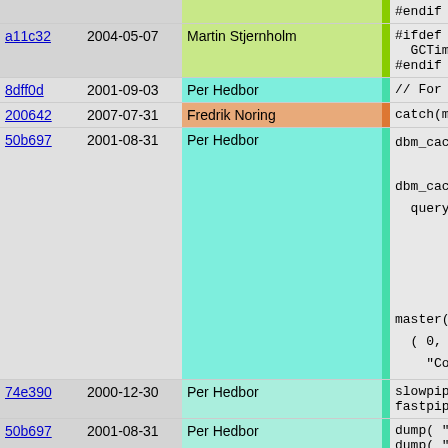| Hash | Date | Author |  | Code |
| --- | --- | --- | --- | --- |
|  |  |  |  | #endif |
| a11c32 | 2004-05-07 | Martin Stjernholm |  | #ifdef LOG
  GCTimest
#endif |
| 8dff0d | 2001-09-03 | Per Hedbor |  | // For R |
| 200642 | 2007-07-31 | Fredrik Noring |  | catch(mk |
| 50b697 | 2001-08-31 | Per Hedbor |  | dbm_cach

dbm_cach
  query(




master()
  ( 0, "
    "Com |
| 74e390 | 2000-12-30 | Per Hedbor |  | slowpipe
fastpipe |
| 50b697 | 2001-08-31 | Per Hedbor |  | dump( "e
dump( "e |